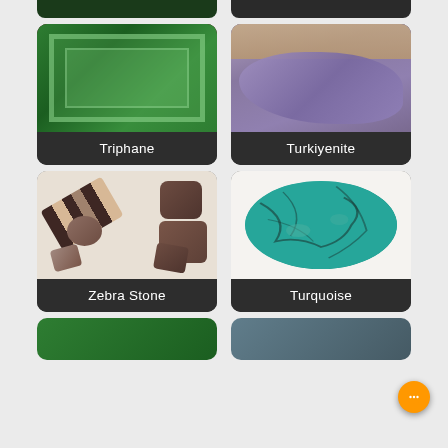[Figure (photo): Grid of gemstone cards showing Triphane (green faceted gem), Turkiyenite (purple/lavender stone held in hand), Zebra Stone (striped brown and multicolor stones), and Turquoise (green oval cabochon with dark matrix veining). Two partial cards visible at top and bottom.]
Triphane
Turkiyenite
Zebra Stone
Turquoise